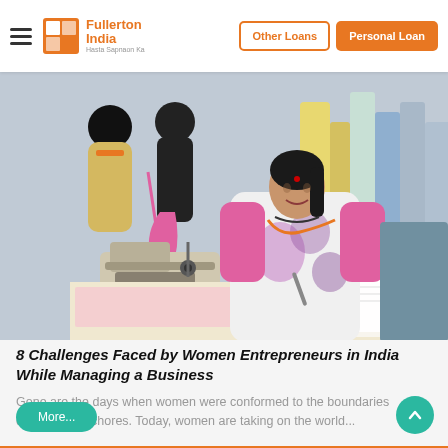Fullerton India — Hasta Sapnaon Ka | Other Loans | Personal Loan
[Figure (photo): A woman entrepreneur wearing a white and purple saree with a pink blouse, sitting at a workbench in a tailoring/garment workshop with sewing machines and dress mannequins in the background, writing in a notebook and smiling at the camera.]
8 Challenges Faced by Women Entrepreneurs in India While Managing a Business
Gone are the days when women were conformed to the boundaries of household chores. Today, women are taking on the world...